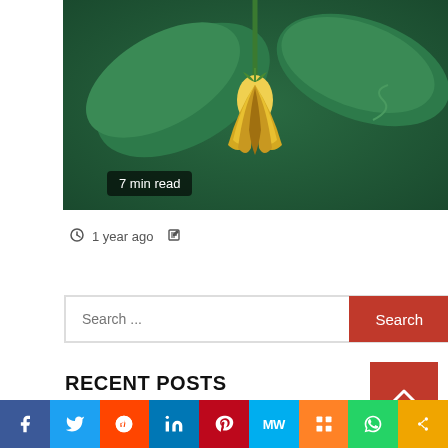[Figure (photo): Close-up photograph of a yellow ylang-ylang flower hanging from a green stem, surrounded by green leaves, with a '7 min read' badge overlay in the bottom-left corner.]
7 min read
1 year ago
Search ...
RECENT POSTS